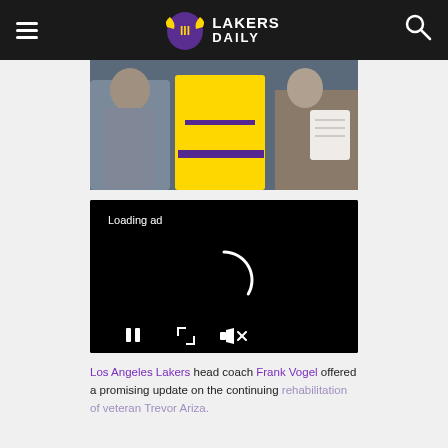Lakers Daily
[Figure (photo): Lakers player in yellow and purple jersey, partial view with other people]
[Figure (screenshot): Video player with loading ad spinner and playback controls (pause, fullscreen, mute)]
Los Angeles Lakers head coach Frank Vogel offered a promising update on the continuing rehabilitation of veteran Trevor Ariza.